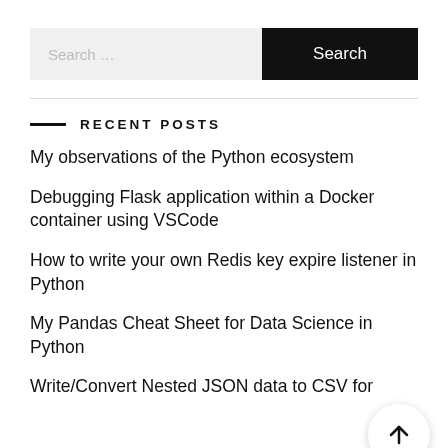Search …
RECENT POSTS
My observations of the Python ecosystem
Debugging Flask application within a Docker container using VSCode
How to write your own Redis key expire listener in Python
My Pandas Cheat Sheet for Data Science in Python
Write/Convert Nested JSON data to CSV for